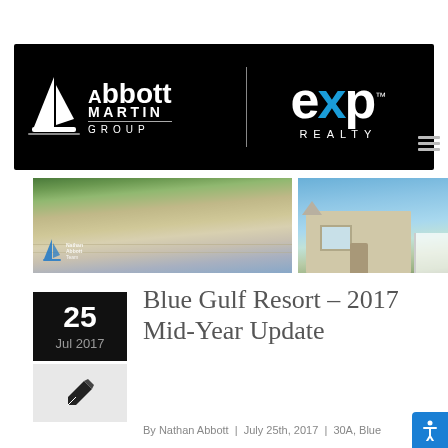[Figure (logo): Abbott Martin Group | eXp Realty logo on black background with sailboat icon]
[Figure (photo): Two photos side by side: left shows a beach with sea oats and beach chairs, right shows a beige coastal cottage]
25
Jul 2017
Blue Gulf Resort – 2017 Mid-Year Update
By Nathan Abbott  |  July 25th, 2017  |  30A, Blue